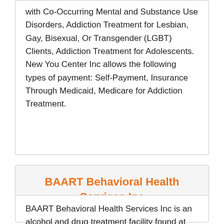with Co-Occurring Mental and Substance Use Disorders, Addiction Treatment for Lesbian, Gay, Bisexual, Or Transgender (LGBT) Clients, Addiction Treatment for Adolescents. New You Center Inc allows the following types of payment: Self-Payment, Insurance Through Medicaid, Medicare for Addiction Treatment.
BAART Behavioral Health Services Inc
BAART Behavioral Health Services Inc is an alcohol and drug treatment facility found at